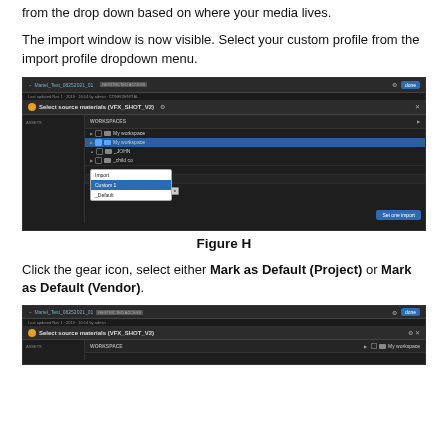from the drop down based on where your media lives.
The import window is now visible. Select your custom profile from the import profile dropdown menu.
[Figure (screenshot): Dark-themed application window showing 'Select source materials (VFX_SHOT_V2)' dialog with a workspace file browser and an open dropdown/profile selector highlighted in blue.]
Figure H
Click the gear icon, select either Mark as Default (Project) or Mark as Default (Vendor).
[Figure (screenshot): Dark-themed application window showing 'Select source materials (VFX_SHOT_V2)' dialog, partially visible at bottom of page, similar to Figure H.]